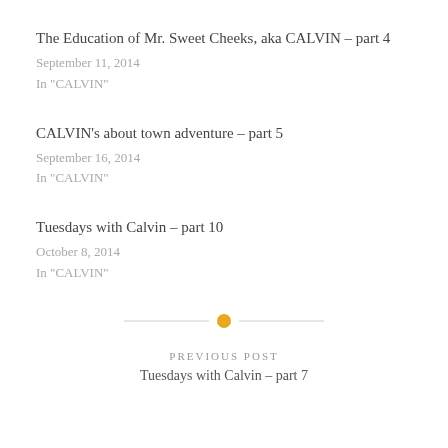The Education of Mr. Sweet Cheeks, aka CALVIN – part 4
September 11, 2014
In "CALVIN"
CALVIN's about town adventure – part 5
September 16, 2014
In "CALVIN"
Tuesdays with Calvin – part 10
October 8, 2014
In "CALVIN"
PREVIOUS POST
Tuesdays with Calvin – part 7